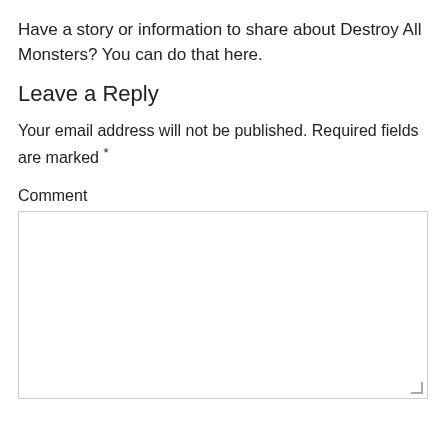Have a story or information to share about Destroy All Monsters? You can do that here.
Leave a Reply
Your email address will not be published. Required fields are marked *
Comment